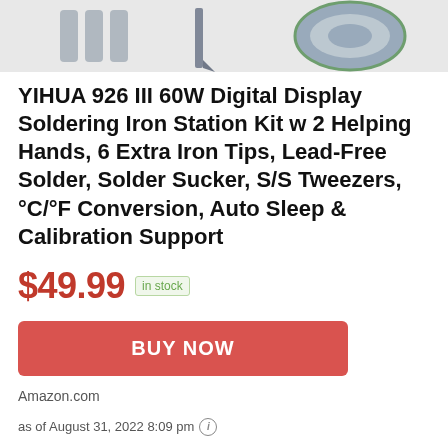[Figure (photo): Partial product image of YIHUA soldering iron station kit components at top of page]
YIHUA 926 III 60W Digital Display Soldering Iron Station Kit w 2 Helping Hands, 6 Extra Iron Tips, Lead-Free Solder, Solder Sucker, S/S Tweezers, °C/°F Conversion, Auto Sleep & Calibration Support
$49.99  in stock
BUY NOW
Amazon.com
as of August 31, 2022 8:09 pm ℹ